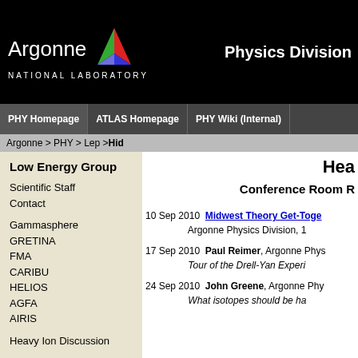Argonne NATIONAL LABORATORY | Physics Division
PHY Homepage | ATLAS Homepage | PHY Wiki (Internal)
Argonne > PHY > Lep > Hid
Low Energy Group
Scientific Staff
Contact
Gammasphere
GRETINA
FMA
CARIBU
HELIOS
AGFA
AIRIS
Heavy Ion Discussion
ATLAS
Targetlab
Hea
Conference Room R
10 Sep 2010 Midwest Theory Get-Toge... Argonne Physics Division, 1
17 Sep 2010 Paul Reimer, Argonne Phys... Tour of the Drell-Yan Experi
24 Sep 2010 John Greene, Argonne Phy... What isotopes should be ha